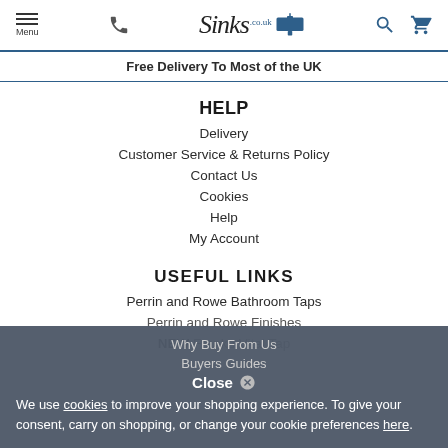Menu | Phone | Sinks.co.uk logo | Search | Cart
Free Delivery To Most of the UK
HELP
Delivery
Customer Service & Returns Policy
Contact Us
Cookies
Help
My Account
USEFUL LINKS
Perrin and Rowe Bathroom Taps
Perrin and Rowe Finishes
NEW Franke Vital Tap
Why Buy From Us
Buyers Guides
Close
We use cookies to improve your shopping experience. To give your consent, carry on shopping, or change your cookie preferences here.